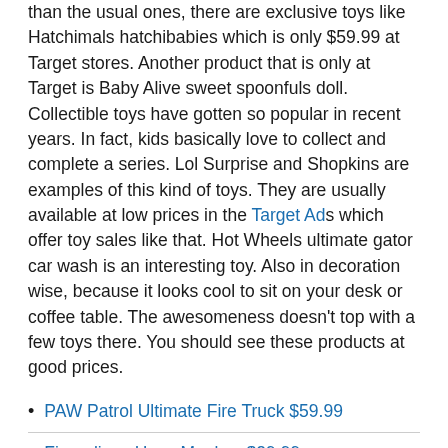than the usual ones, there are exclusive toys like Hatchimals hatchibabies which is only $59.99 at Target stores. Another product that is only at Target is Baby Alive sweet spoonfuls doll. Collectible toys have gotten so popular in recent years. In fact, kids basically love to collect and complete a series. Lol Surprise and Shopkins are examples of this kind of toys. They are usually available at low prices in the Target Ads which offer toy sales like that. Hot Wheels ultimate gator car wash is an interesting toy. Also in decoration wise, because it looks cool to sit on your desk or coffee table. The awesomeness doesn't top with a few toys there. You should see these products at good prices.
PAW Patrol Ultimate Fire Truck $59.99
Fingerlings Hugs Monkey $29.99
LOL Surprise! Doll Bigger Surprise $89.99